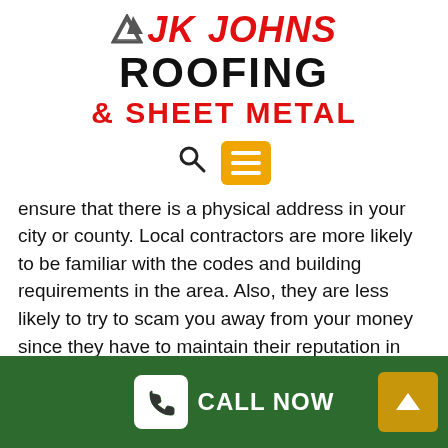[Figure (logo): JK Johns Roofing & Sheet Metal logo with red bold text and small triangular icon]
[Figure (infographic): Search icon (magnifying glass) and orange menu hamburger button]
ensure that there is a physical address in your city or county. Local contractors are more likely to be familiar with the codes and building requirements in the area. Also, they are less likely to try to scam you away from your money since they have to maintain their reputation in your community.
2. Verify that this contractor is licensed and insured.
Reputable contractors always make time to get licensed.
[Figure (photo): Photo of a man with a beard in a dark shirt, shown in the green footer bar at bottom left]
[Figure (infographic): Green footer bar with CALL NOW button (phone icon in white box) and yellow up-arrow button]